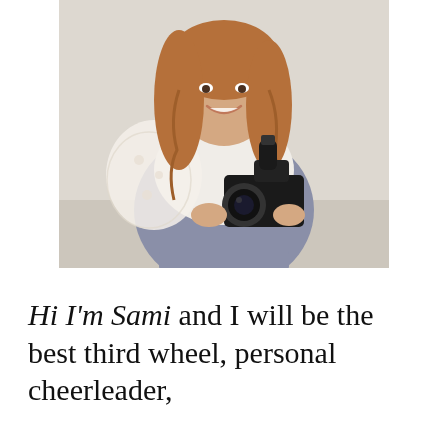[Figure (photo): A smiling woman with long auburn wavy hair wearing a white floral lace overlay top and grey trousers, holding a professional video camera with a microphone attached. She is posed against a light neutral background.]
Hi I'm Sami and I will be the best third wheel, personal cheerleader,